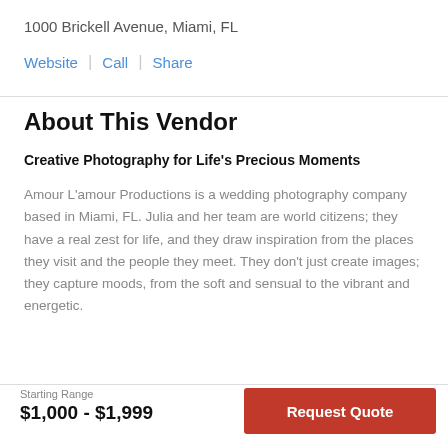1000 Brickell Avenue, Miami, FL
Website | Call | Share
About This Vendor
Creative Photography for Life's Precious Moments
Amour L'amour Productions is a wedding photography company based in Miami, FL. Julia and her team are world citizens; they have a real zest for life, and they draw inspiration from the places they visit and the people they meet. They don't just create images; they capture moods, from the soft and sensual to the vibrant and energetic.
Starting Range
$1,000 - $1,999
Request Quote